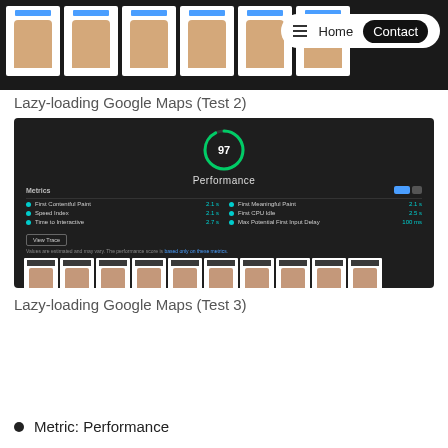[Figure (screenshot): Screenshot of a webpage showing a row of thumbnail images of a man's face with a navigation bar overlay containing hamburger menu, Home, and Contact button]
Lazy-loading Google Maps (Test 2)
[Figure (screenshot): Lighthouse performance audit screenshot showing a score of 97, with metrics: First Contentful Paint 2.1s, First Meaningful Paint 2.1s, Speed Index 2.1s, First CPU Idle 2.5s, Time to Interactive 2.7s, Max Potential First Input Delay 100ms, with a filmstrip of thumbnails at the bottom]
Lazy-loading Google Maps (Test 3)
Metric: Performance